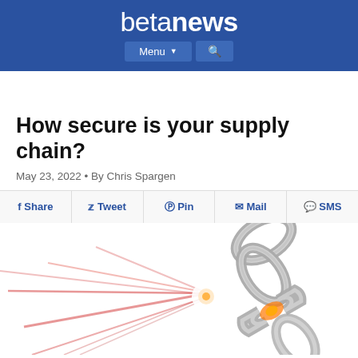betanews
How secure is your supply chain?
May 23, 2022 • By Chris Spargen
Share
Tweet
Pin
Mail
SMS
[Figure (illustration): A broken metal chain link with orange glowing break point and red motion blur lines in the background, suggesting a supply chain break or failure.]